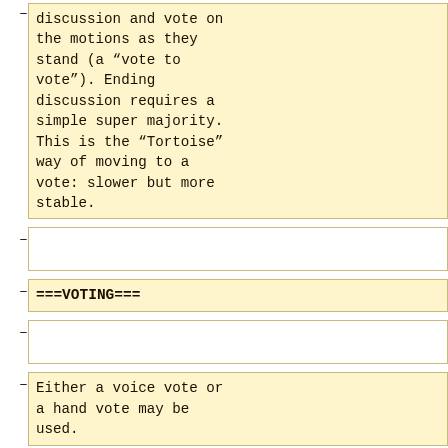discussion and vote on the motions as they stand (a “vote to vote”). Ending discussion requires a simple super majority. This is the “Tortoise” way of moving to a vote: slower but more stable.
===VOTING===
Either a voice vote or a hand vote may be used.
:• '''Voice Vote:'''